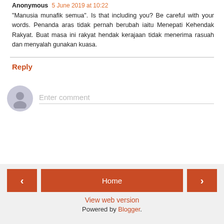Anonymous 5 June 2019 at 10:22
"Manusia munafik semua". Is that including you? Be careful with your words. Penanda aras tidak pernah berubah iaitu Menepati Kehendak Rakyat. Buat masa ini rakyat hendak kerajaan tidak menerima rasuah dan menyalah gunakan kuasa.
Reply
[Figure (other): Comment input area with user avatar placeholder and 'Enter comment' text field]
Home | View web version | Powered by Blogger.